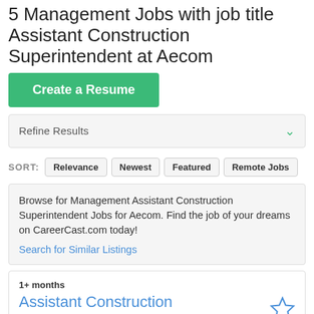5 Management Jobs with job title Assistant Construction Superintendent at Aecom
Create a Resume
Refine Results
SORT: Relevance Newest Featured Remote Jobs
Browse for Management Assistant Construction Superintendent Jobs for Aecom. Find the job of your dreams on CareerCast.com today! Search for Similar Listings
1+ months
Assistant Construction Project Manager